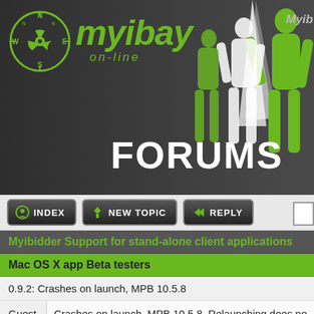[Figure (screenshot): Myibay on-line forums website header with green logo, compass icon, silhouette figures, and FORUMS text]
Myibidder Support for stand-alone client applications
Mac OS X app Beta testers
0.9.2: Crashes on launch, MPB 10.5.8
| User | Post |
| --- | --- |
| Guest | Crashes on launch, MPB 10.5.8. Relaunching does no |